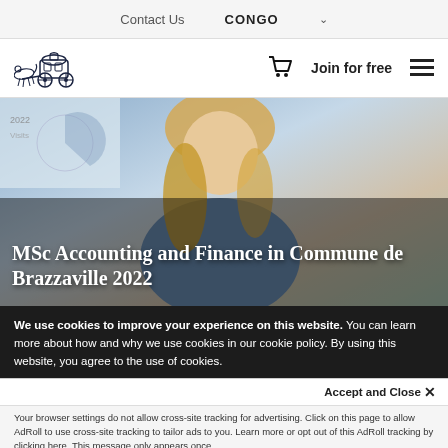Contact Us   CONGO  ˅
[Figure (logo): Horse-drawn carriage logo (Coaching Inn / educational institution logo) in dark navy ink style]
Join for free
[Figure (photo): A blonde woman looking down, seated at a desk, with a whiteboard chart partially visible in the background. Office/classroom setting.]
MSc Accounting and Finance in Commune de Brazzaville 2022
We use cookies to improve your experience on this website. You can learn more about how and why we use cookies in our cookie policy. By using this website, you agree to the use of cookies.
Accept and Close ×
Your browser settings do not allow cross-site tracking for advertising. Click on this page to allow AdRoll to use cross-site tracking to tailor ads to you. Learn more or opt out of this AdRoll tracking by clicking here. This message only appears once.